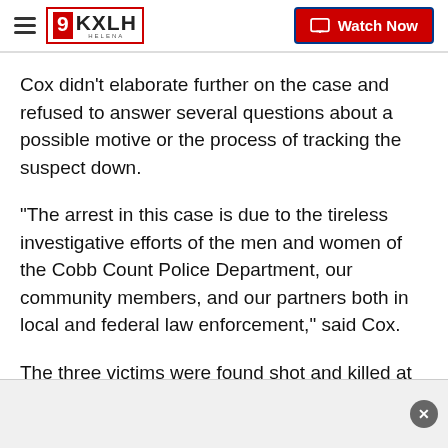9KXLH Helena | Watch Now
Cox didn't elaborate further on the case and refused to answer several questions about a possible motive or the process of tracking the suspect down.
“The arrest in this case is due to the tireless investigative efforts of the men and women of the Cobb Count Police Department, our community members, and our partners both in local and federal law enforcement,” said Cox.
The three victims were found shot and killed at the Pinetree Country Club in Kennesaw on July 3. Police